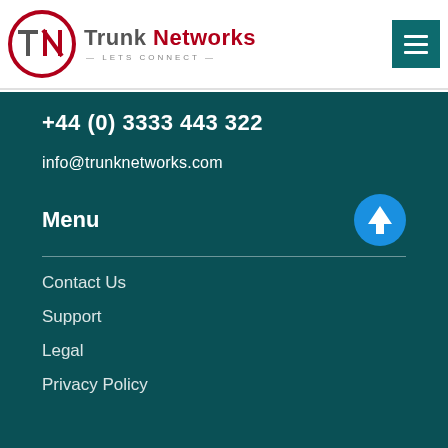[Figure (logo): Trunk Networks logo with circular TN emblem in red and grey, company name 'Trunk Networks' in grey and red, tagline 'LETS CONNECT' below]
[Figure (other): Dark teal hamburger menu button with three white horizontal bars]
+44 (0) 3333 443 322
info@trunknetworks.com
Menu
Contact Us
Support
Legal
Privacy Policy